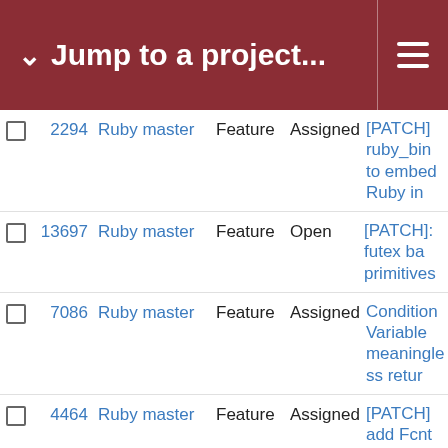Jump to a project...
|  | # | Project | Type | Status | Title |
| --- | --- | --- | --- | --- | --- |
|  | 2294 | Ruby master | Feature | Assigned | [PATCH] ruby_bind to embed Ruby in |
|  | 13697 | Ruby master | Feature | Open | [PATCH]: futex ba primitives |
|  | 7086 | Ruby master | Feature | Assigned | ConditionVariable meaningless retur |
|  | 4464 | Ruby master | Feature | Assigned | [PATCH] add Fcnt object for easier u POSIX file locks |
|  | 18773 | Ruby master | Feature | Assigned | deconstruct to rec range |
|  | 18408 | Ruby master | Feature | Assigned | Allow pattern matc instance variables |
|  | 17355 | Ruby master | Feature | Assigned | Using same set of or-patterns (patter with Foo(x) | Bar(x |
|  | 15918 | Ruby master | Feature | Open | Pattern matching t |
|  | 15881 | Ruby master | Feature | Open | Optimize deconstr pattern matching |